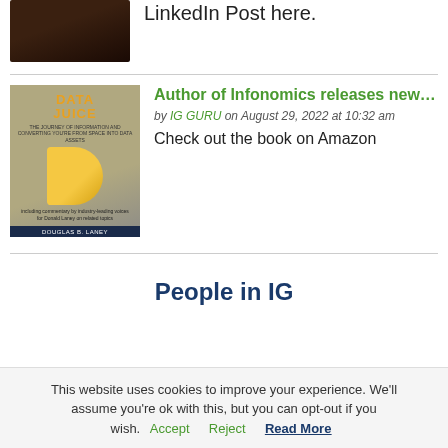[Figure (photo): Dark toned photo partially visible at top left]
LinkedIn Post here.
[Figure (photo): Book cover image for 'Data Juice' by Douglas B. Laney]
Author of Infonomics releases new…
by IG GURU on August 29, 2022 at 10:32 am Check out the book on Amazon
People in IG
This website uses cookies to improve your experience. We'll assume you're ok with this, but you can opt-out if you wish. Accept Reject Read More